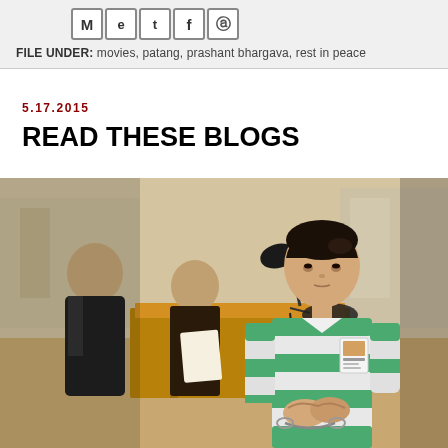[Figure (other): Social media sharing icons: M (email), e (embed), t (Twitter), f (Facebook), p (Pinterest) in bordered boxes]
FILE UNDER: movies, patang, prashant bhargava, rest in peace
5.17.2015
READ THESE BLOGS
[Figure (photo): A woman in a green and white striped prison jumpsuit with an ID badge stands in a courtroom, hands clasped in front of her. Behind her is a wooden podium with a microphone. Other people are visible in the background, one holding papers.]